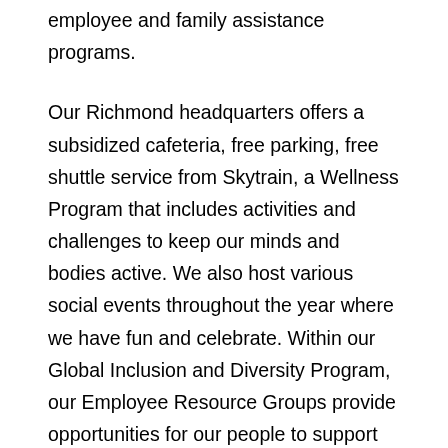employee and family assistance programs.
Our Richmond headquarters offers a subsidized cafeteria, free parking, free shuttle service from Skytrain, a Wellness Program that includes activities and challenges to keep our minds and bodies active. We also host various social events throughout the year where we have fun and celebrate. Within our Global Inclusion and Diversity Program, our Employee Resource Groups provide opportunities for our people to support and champion Women in Tech, Emerging Professionals, Pride@Sierra, and Mental Health Awareness.
If you like working with a successful team, are looking for competitive salary and benefits, and the